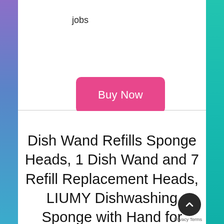jobs
Buy Now
Dish Wand Refills Sponge Heads, 1 Dish Wand and 7 Refill Replacement Heads, LIUMY Dishwashing Sponge with Hand for Kitchen,Sink(Green)